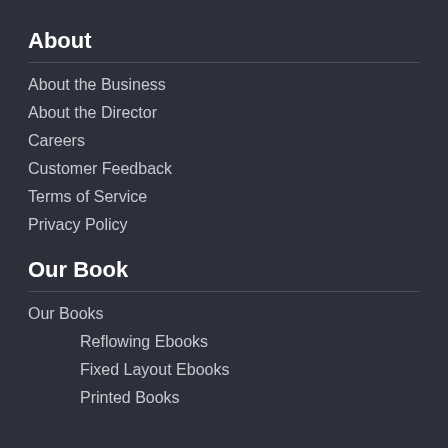About
About the Business
About the Director
Careers
Customer Feedback
Terms of Service
Privacy Policy
Our Book
Our Books
Reflowing Ebooks
Fixed Layout Ebooks
Printed Books